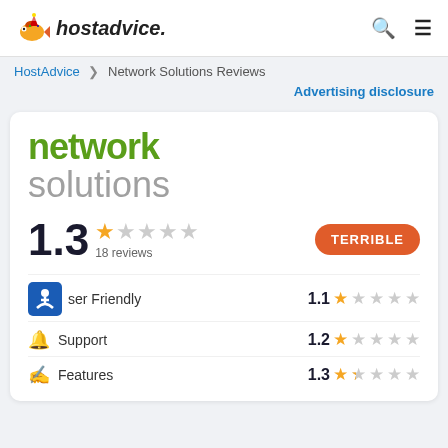[Figure (logo): HostAdvice logo with goldfish mascot and italic bold text 'hostadvice.']
HostAdvice > Network Solutions Reviews
Advertising disclosure
[Figure (logo): Network Solutions logo: 'network' in green bold, 'solutions' in gray light weight]
1.3  ★☆☆☆☆  18 reviews   TERRIBLE
User Friendly  1.1 ★☆☆☆☆
Support  1.2 ★☆☆☆☆
Features  1.3 ★☆☆☆☆